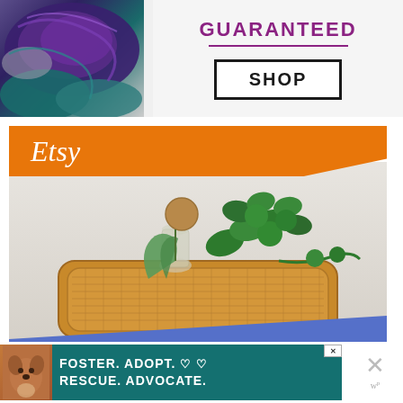[Figure (photo): Top advertisement showing colorful yarn skeins on left side with purple and teal colors, and on the right a 'GUARANTEED' text in purple with a horizontal line and a 'SHOP' button in a black rectangle border]
[Figure (photo): Etsy advertisement with orange diagonal banner showing 'Etsy' logo, a photo of green houseplants and succulents in a rattan wicker tray on a light background, and a blue diagonal overlay at the bottom with white italic text 'Discover unique items' and 'Shop now' underlined link]
[Figure (photo): Bottom banner advertisement on teal background reading 'FOSTER. ADOPT. RESCUE. ADVOCATE.' in white bold text, with a dog photo on left, heart icons, and a close X button with 'w' superscript 'p' on the right side]